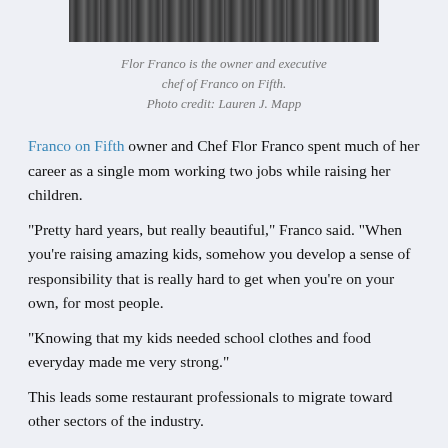[Figure (photo): Cropped top portion of a photo showing a person, partially visible at the top of the page.]
Flor Franco is the owner and executive chef of Franco on Fifth.
Photo credit: Lauren J. Mapp
Franco on Fifth owner and Chef Flor Franco spent much of her career as a single mom working two jobs while raising her children.
“Pretty hard years, but really beautiful,” Franco said. “When you're raising amazing kids, somehow you develop a sense of responsibility that is really hard to get when you're on your own, for most people.
“Knowing that my kids needed school clothes and food everyday made me very strong.”
This leads some restaurant professionals to migrate toward other sectors of the industry.